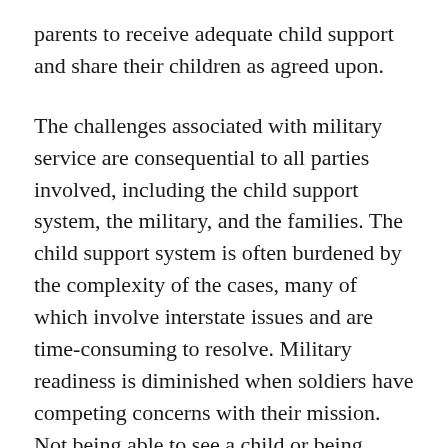parents to receive adequate child support and share their children as agreed upon.
The challenges associated with military service are consequential to all parties involved, including the child support system, the military, and the families. The child support system is often burdened by the complexity of the cases, many of which involve interstate issues and are time-consuming to resolve. Military readiness is diminished when soldiers have competing concerns with their mission. Not being able to see a child or being unable to adequately support a child may deter a soldier's focus on the military mission and reduce readiness. In the end, it is the children and families for whom these issues matter most. Children benefit from the financial and emotional commitment of both parents, and soldiers and veterans deserve special attention to help resolve the issues regarding their child